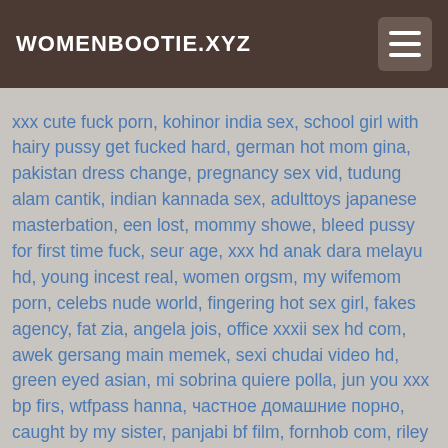WOMENBOOTIE.XYZ
xxx cute fuck porn, kohinor india sex, school girl with hairy pussy get fucked hard, german hot mom gina, pakistan dress change, pregnancy sex vid, tudung alam cantik, indian kannada sex, adulttoys japanese masterbation, een lost, mommy showe, bleed pussy for first time fuck, seur age, xxx hd anak dara melayu hd, young incest real, women orgsm, my wifemom porn, celebs nude world, fingering hot sex girl, fakes agency, fat zia, angela jois, office xxxii sex hd com, awek gersang main memek, sexi chudai video hd, green eyed asian, mi sobrina quiere polla, jun you xxx bp firs, wtfpass hanna, частное домашние порно, caught by my sister, panjabi bf film, fornhob com, riley reid small dick, suck forced, cum eating anal gaping, milf natural 4, sleeping mom attack, Uuifvbbbbbdbj, black girl fucked in car, bauretties girls n, c ducer, ooker crack head, gina lynn porn video, aran msn,